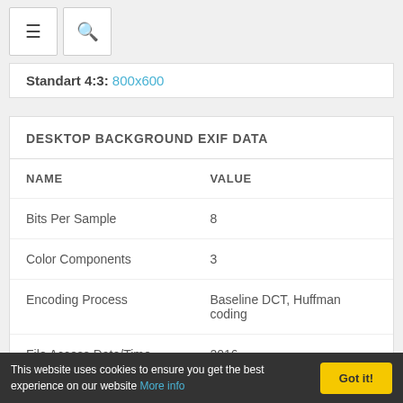≡  🔍
Standart 4:3: 800x600
DESKTOP BACKGROUND EXIF DATA
| NAME | VALUE |
| --- | --- |
| Bits Per Sample | 8 |
| Color Components | 3 |
| Encoding Process | Baseline DCT, Huffman coding |
| File Access Date/Time | 2016 |
This website uses cookies to ensure you get the best experience on our website More info  Got it!